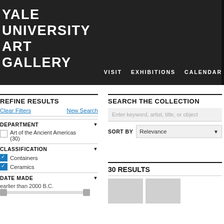YALE
UNIVERSITY
ART
GALLERY   VISIT   EXHIBITIONS   CALENDAR
REFINE RESULTS
Clear Filters   New Search
DEPARTMENT
Art of the Ancient Americas (30)
CLASSIFICATION
Containers
Ceramics
DATE MADE
earlier than 2000 B.C.
SEARCH THE COLLECTION
Enter keyword, artist, title, or object
SORT BY   Relevance
30 RESULTS